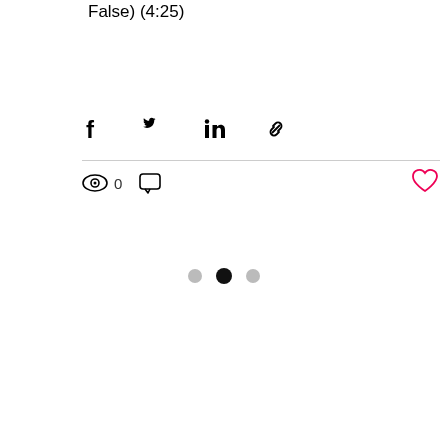False) (4:25)
[Figure (infographic): Social share icons: Facebook, Twitter, LinkedIn, Link/chain]
[Figure (infographic): Engagement row: eye icon with count 0, comment icon, heart icon (red outline)]
[Figure (infographic): Pagination dots: three dots, middle one filled black, outer ones gray]